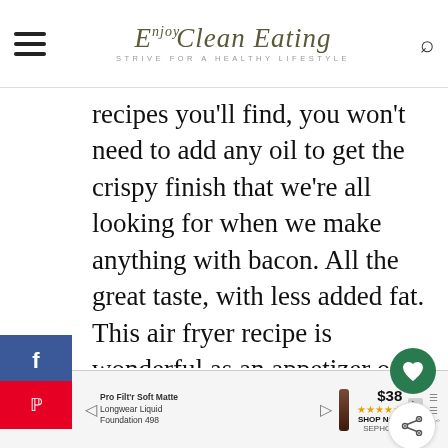Enjoy Clean Eating – Strive for a Healthy Lifestyle
recipes you'll find, you won't need to add any oil to get the crispy finish that we're all looking for when we make anything with bacon. All the great taste, with less added fat. This air fryer recipe is wonderful as an appetizer or part of the main meal– Keto-winner recipe you can make over and over again.
WHAT'S NEXT → Bacon Wrapped...
TRY SOMETHING Fenty Beauty by Rihanna | Pro Filt'r Soft Matte Longwear Liquid Foundation 498 | $38 ★★★★★ SHOP NOW SEPHORA